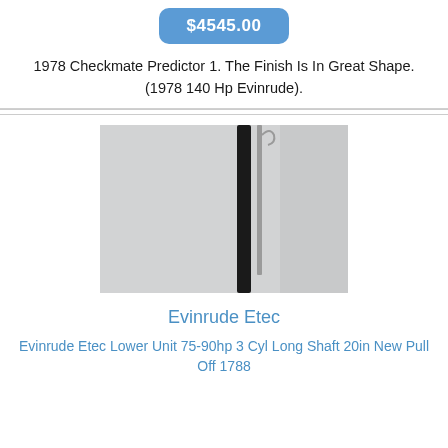$4545.00
1978 Checkmate Predictor 1. The Finish Is In Great Shape. (1978 140 Hp Evinrude).
[Figure (photo): Photo of two long thin rods or shafts — one black and one metallic/silver — standing upright against a light gray background. Appears to be an Evinrude Etec lower unit part.]
Evinrude Etec
Evinrude Etec Lower Unit 75-90hp 3 Cyl Long Shaft 20in New Pull Off 1788